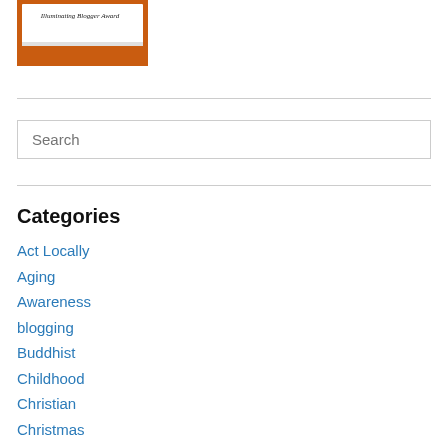[Figure (photo): Illuminating Blogger Award image - a white card/sign with cursive text 'Illuminating Blogger Award' on an orange background]
Search
Categories
Act Locally
Aging
Awareness
blogging
Buddhist
Childhood
Christian
Christmas